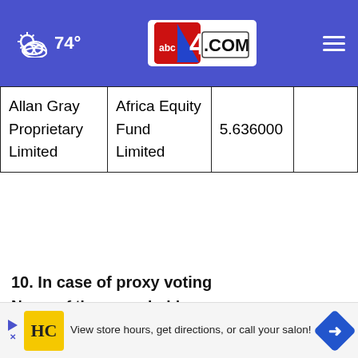74° abc4.com
| Allan Gray Proprietary Limited | Africa Equity Fund Limited | 5.636000 |  |
10. In case of proxy voting
Name of the proxy holder
The n...
[Figure (other): Advertisement banner: HC salon logo with text 'View store hours, get directions, or call your salon!' and navigation arrow icon]